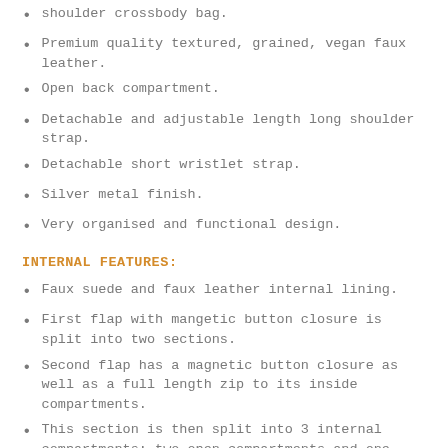shoulder crossbody bag.
Premium quality textured, grained, vegan faux leather.
Open back compartment.
Detachable and adjustable length long shoulder strap.
Detachable short wristlet strap.
Silver metal finish.
Very organised and functional design.
INTERNAL FEATURES:
Faux suede and faux leather internal lining.
First flap with mangetic button closure is split into two sections.
Second flap has a magnetic button closure as well as a full length zip to its inside compartments.
This section is then split into 3 internal compartments; two open compartments and one